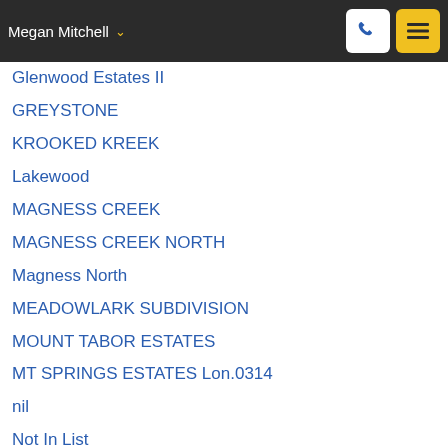Megan Mitchell
Glenwood Estates II
GREYSTONE
KROOKED KREEK
Lakewood
MAGNESS CREEK
MAGNESS CREEK NORTH
Magness North
MEADOWLARK SUBDIVISION
MOUNT TABOR ESTATES
MT SPRINGS ESTATES Lon.0314
nil
Not In List
OAK FORREST
OAK MEADOWS
PARK PLACE
Pheasant Run
Pinewood Estates II
ROBINWOOD
Shiloh